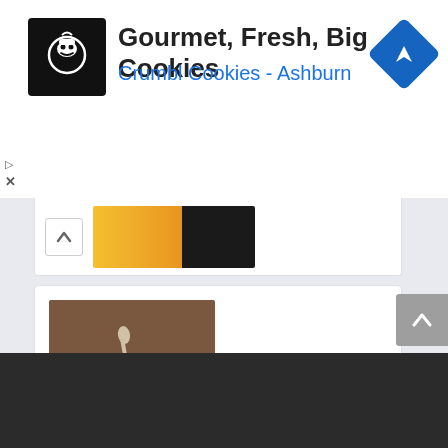[Figure (screenshot): Advertisement banner for Crumbl Cookies - Ashburn with logo, title 'Gourmet, Fresh, Big Cookies', subtitle 'Crumbl Cookies - Ashburn', and navigation icon]
Gourmet, Fresh, Big Cookies
Crumbl Cookies - Ashburn
[Figure (photo): Partial photo of a yellow/golden food item on dark background, partially visible]
[Figure (photo): Photo of a dark brown coffee/cocoa mug with saucer and a spoon, viewed from above on a wooden surface]
MOM'S SUGARFREE HOT COCOA